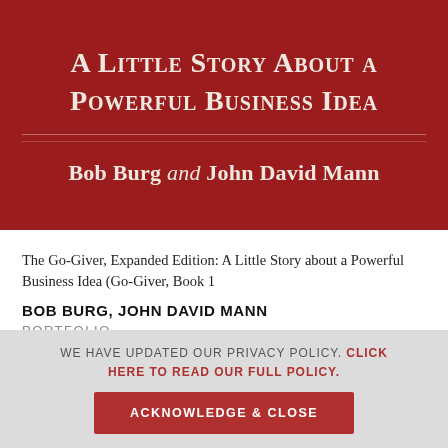[Figure (illustration): Book cover with dark red background showing title 'A Little Story About a Powerful Business Idea' and authors 'Bob Burg and John David Mann']
The Go-Giver, Expanded Edition: A Little Story about a Powerful Business Idea (Go-Giver, Book 1
BOB BURG, JOHN DAVID MANN
PORTFOLIO
WE HAVE UPDATED OUR PRIVACY POLICY. CLICK HERE TO READ OUR FULL POLICY.
ACKNOWLEDGE & CLOSE